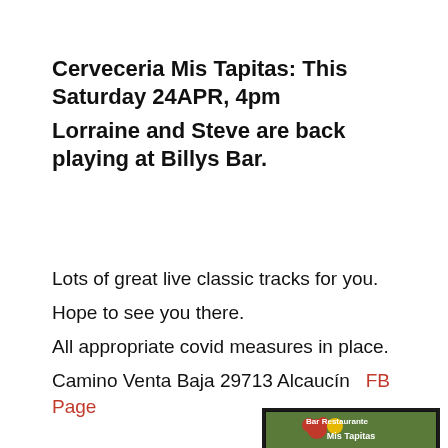Cerveceria Mis Tapitas: This Saturday 24APR, 4pm
Lorraine and Steve are back playing at Billys Bar.
Lots of great live classic tracks for you.
Hope to see you there.
All appropriate covid measures in place.
Camino Venta Baja 29713 Alcaucín   FB Page
[Figure (photo): Photo of Bar Restaurante Mis Tapitas sign with contact details and a map, framed with a dark border]